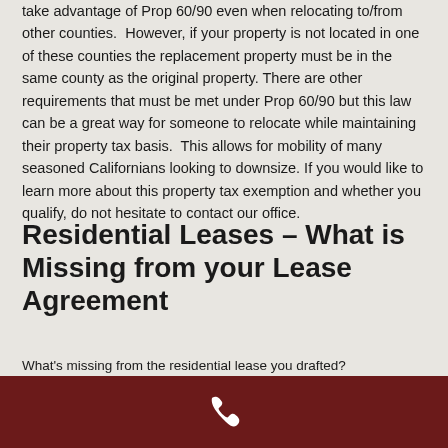take advantage of Prop 60/90 even when relocating to/from other counties.  However, if your property is not located in one of these counties the replacement property must be in the same county as the original property. There are other requirements that must be met under Prop 60/90 but this law can be a great way for someone to relocate while maintaining their property tax basis.  This allows for mobility of many seasoned Californians looking to downsize. If you would like to learn more about this property tax exemption and whether you qualify, do not hesitate to contact our office.
Residential Leases – What is Missing from your Lease Agreement
What's missing from the residential lease you drafted?
[Figure (other): Dark red/maroon footer bar with a white phone handset icon in the center]